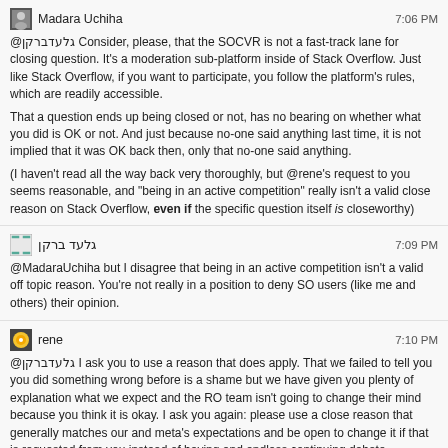Madara Uchiha 7:06 PM @גלעדברקן Consider, please, that the SOCVR is not a fast-track lane for closing question. It's a moderation sub-platform inside of Stack Overflow. Just like Stack Overflow, if you want to participate, you follow the platform's rules, which are readily accessible.

That a question ends up being closed or not, has no bearing on whether what you did is OK or not. And just because no-one said anything last time, it is not implied that it was OK back then, only that no-one said anything.

(I haven't read all the way back very thoroughly, but @rene's request to you seems reasonable, and "being in an active competition" really isn't a valid close reason on Stack Overflow, even if the specific question itself is closeworthy)
גלעד ברקן 7:09 PM @MadaraUchiha but I disagree that being in an active competition isn't a valid off topic reason. You're not really in a position to deny SO users (like me and others) their opinion.
rene 7:10 PM @גלעדברקן I ask you to use a reason that does apply. That we failed to tell you you did something wrong before is a shame but we have given you plenty of explanation what we expect and the RO team isn't going to change their mind because you think it is okay. I ask you again: please use a close reason that generally matches our and meta's expectations and be open to change it if that is requested from you instead of having and endless continuing debate.
Madara Uchiha 7:11 PM @גלעדברקן You are entitled to your opinion. But if you wish to participate in a platform, you abide by the platform's rules and constraints, not yours.
גלעד ברקן 7:11 PM